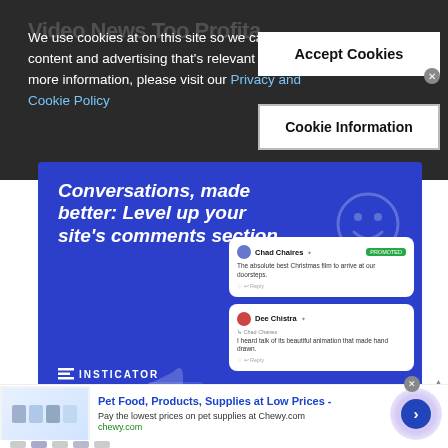[Figure (screenshot): Cookie consent overlay on a webpage with dark background, showing cookie notice text, Accept Cookies and Cookie Information buttons]
We use cookies at on this site so we can serve up content and advertising that's relevant to you. For more information, please visit our Privacy and Cookie Policy
Accept Cookies
Cookie Information
[Figure (screenshot): Insticator advertisement: 'Conversations, made better: Level up your site's comments section' on blue background with chat UI mockups and Learn More button]
[Figure (screenshot): Chewy.com advertisement: 'Pet Food, Products, Supplies at Low Prices - Pay the lowest prices on pet supplies at Chewy.com']